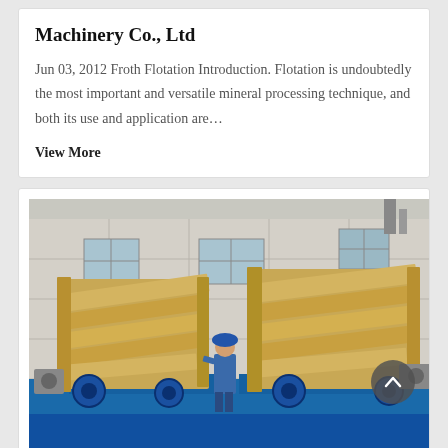Machinery Co., Ltd
Jun 03, 2012 Froth Flotation Introduction. Flotation is undoubtedly the most important and versatile mineral processing technique, and both its use and application are…
View More
[Figure (photo): Two large yellow industrial vibrating screen machines with blue base frames, photographed outdoors in front of a factory building. A worker in blue uniform stands between the machines.]